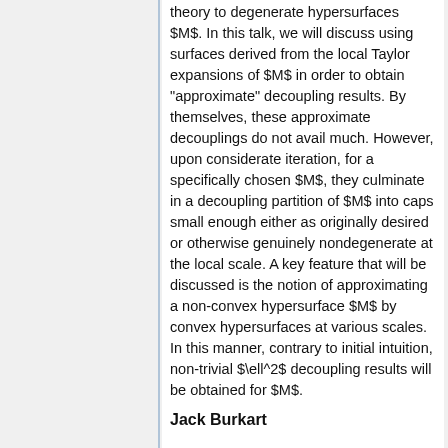theory to degenerate hypersurfaces $M$. In this talk, we will discuss using surfaces derived from the local Taylor expansions of $M$ in order to obtain "approximate" decoupling results. By themselves, these approximate decouplings do not avail much. However, upon considerate iteration, for a specifically chosen $M$, they culminate in a decoupling partition of $M$ into caps small enough either as originally desired or otherwise genuinely nondegenerate at the local scale. A key feature that will be discussed is the notion of approximating a non-convex hypersurface $M$ by convex hypersurfaces at various scales. In this manner, contrary to initial intuition, non-trivial $\ell^2$ decoupling results will be obtained for $M$.
Jack Burkart